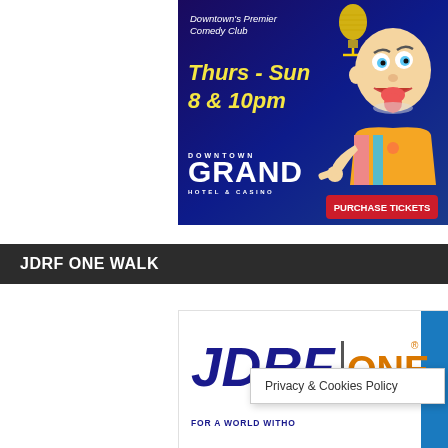[Figure (illustration): Advertisement for Downtown Grand Hotel & Casino comedy club showing a cartoon bald comedian with microphone, text 'Downtown's Premier Comedy Club', 'Thurs - Sun 8 & 10pm', Downtown Grand Hotel & Casino logo, and a red Purchase Tickets button]
JDRF ONE WALK
[Figure (logo): JDRF ONE Walk logo with blue bar on right side, JDRF text in dark blue italic bold, ONE in orange, registered trademark symbol, and tagline 'FOR A WORLD WITHO[UT TYPE 1 DIABETES]']
Privacy & Cookies Policy